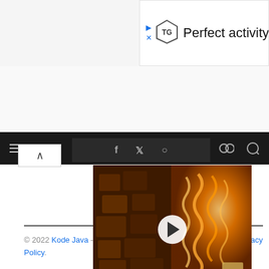[Figure (screenshot): Topgolf advertisement banner with logo and partial text 'Perfect activity for e']
[Figure (screenshot): Dark navigation bar with hamburger menu icon on left and icons on right]
[Figure (screenshot): Social share bar with Facebook, Twitter and other icons]
[Figure (screenshot): Video thumbnail for 'Beautiful veneer lamp' by VENKO with play button overlay]
© 2022 Kode Java - Made in Bali with ❤ by Wayan Saryada | Privacy Policy